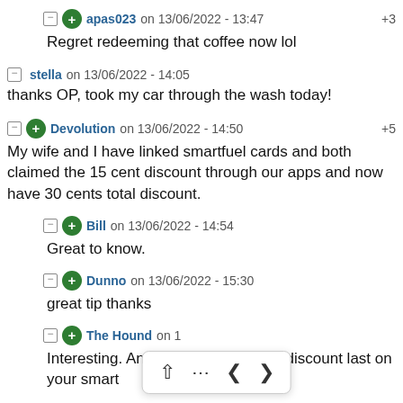⊟ + apas023 on 13/06/2022 - 13:47   +3
Regret redeeming that coffee now lol
⊟ stella on 13/06/2022 - 14:05
thanks OP, took my car through the wash today!
⊟ + Devolution on 13/06/2022 - 14:50   +5
My wife and I have linked smartfuel cards and both claimed the 15 cent discount through our apps and now have 30 cents total discount.
⊟ + Bill on 13/06/2022 - 14:54
Great to know.
⊟ + Dunno on 13/06/2022 - 15:30
great tip thanks
⊟ + The Hound on ...
Interesting. And how long does the discount last on your smart